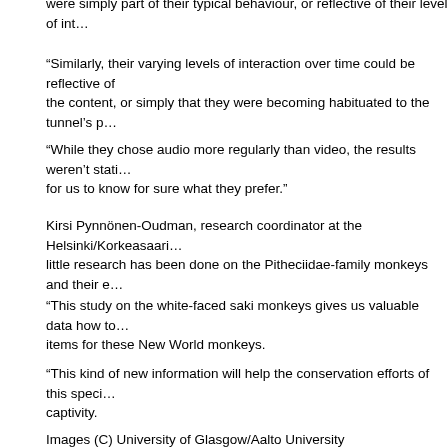were simply part of their typical behaviour, or reflective of their level of int…
“Similarly, their varying levels of interaction over time could be reflective of the content, or simply that they were becoming habituated to the tunnel’s p…
“While they chose audio more regularly than video, the results weren’t stati… for us to know for sure what they prefer.”
Kirsi Pynnönen-Oudman, research coordinator at the Helsinki/Korkeasaari… little research has been done on the Pitheciidae-family monkeys and their e…
“This study on the white-faced saki monkeys gives us valuable data how to… items for these New World monkeys.
“This kind of new information will help the conservation efforts of this speci… captivity.
“Sakis have a breeding program, called the EAZA Ex situ programmes, run… program coordinator visited our zoo recently and was very interested of the… using the computer based animal-driven choice tunnels.”
Images (C) University of Glasgow/Aalto University